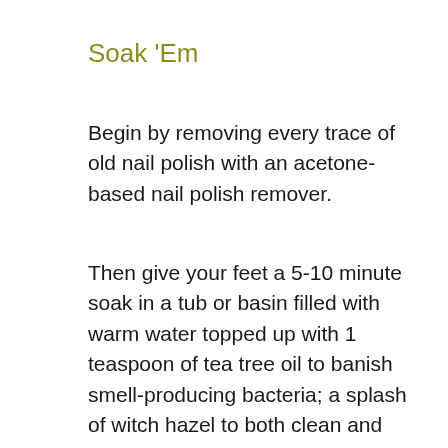Soak 'Em
Begin by removing every trace of old nail polish with an acetone-based nail polish remover.
Then give your feet a 5-10 minute soak in a tub or basin filled with warm water topped up with 1 teaspoon of tea tree oil to banish smell-producing bacteria; a splash of witch hazel to both clean and tone; 1/2 cup of Epsom salts to nourish; plus 3 drops of peppermint or rosemary oil to increase circulation. Soaking your feet both cleanses them and softens rough skin. This